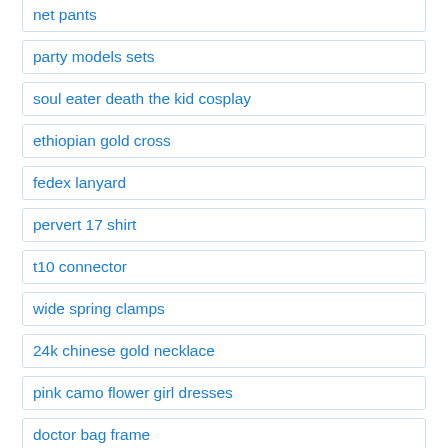net pants
party models sets
soul eater death the kid cosplay
ethiopian gold cross
fedex lanyard
pervert 17 shirt
t10 connector
wide spring clamps
24k chinese gold necklace
pink camo flower girl dresses
doctor bag frame
cadenas de la santa muerte